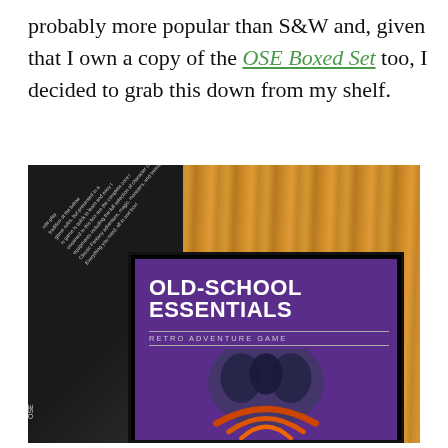probably more popular than S&W and, given that I own a copy of the OSE Boxed Set too, I decided to grab this down from my shelf.
[Figure (photo): Photo of the Old-School Essentials Retro Adventure Game boxed set on a wooden table. The black box spine is visible on the left at an angle showing partial white text. The purple hardcover book is partially visible inside the open box at bottom center-right, showing the title 'OLD-SCHOOL ESSENTIALS' and subtitle 'RETRO ADVENTURE GAME' in white text with decorative artwork below.]